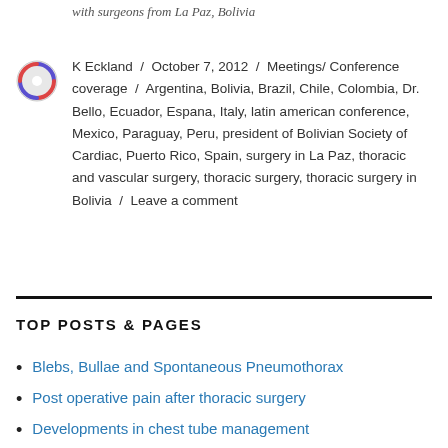with surgeons from La Paz, Bolivia
K Eckland / October 7, 2012 / Meetings/ Conference coverage / Argentina, Bolivia, Brazil, Chile, Colombia, Dr. Bello, Ecuador, Espana, Italy, latin american conference, Mexico, Paraguay, Peru, president of Bolivian Society of Cardiac, Puerto Rico, Spain, surgery in La Paz, thoracic and vascular surgery, thoracic surgery, thoracic surgery in Bolivia / Leave a comment
TOP POSTS & PAGES
Blebs, Bullae and Spontaneous Pneumothorax
Post operative pain after thoracic surgery
Developments in chest tube management
VATS decortication: Empyema
The Chondral...